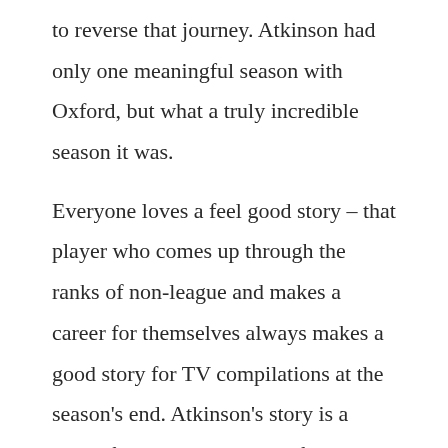to reverse that journey. Atkinson had only one meaningful season with Oxford, but what a truly incredible season it was.

Everyone loves a feel good story – that player who comes up through the ranks of non-league and makes a career for themselves always makes a good story for TV compilations at the season's end. Atkinson's story is a rather fast tracked version of the same tale. Having initially been bought to Fulham from Basingstoke, he may have thought he'd missed his moment when he was released and ended up signing for